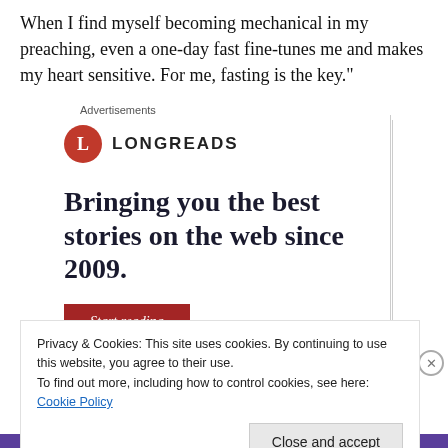When I find myself becoming mechanical in my preaching, even a one-day fast fine-tunes me and makes my heart sensitive. For me, fasting is the key."
Advertisements
[Figure (logo): Longreads logo: red circle with white letter L, followed by LONGREADS in bold caps]
Bringing you the best stories on the web since 2009.
Start reading
Privacy & Cookies: This site uses cookies. By continuing to use this website, you agree to their use.
To find out more, including how to control cookies, see here: Cookie Policy
Close and accept